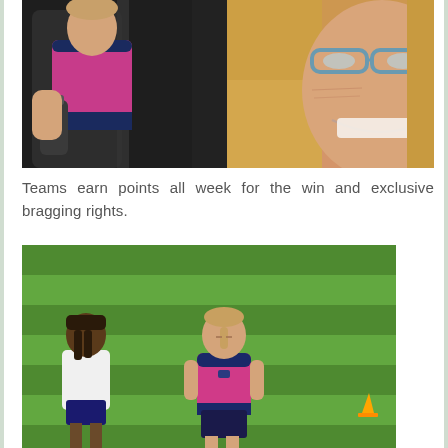[Figure (photo): Selfie photo in a car: a woman with glasses and blonde hair smiling in the foreground, and a child in a pink and navy sports jersey in the backseat]
Teams earn points all week for the win and exclusive bragging rights.
[Figure (photo): Outdoor soccer field photo: a girl in a pink and navy uniform walking on a green grass field, with another child in a white shirt to the left and a small orange cone visible on the right]